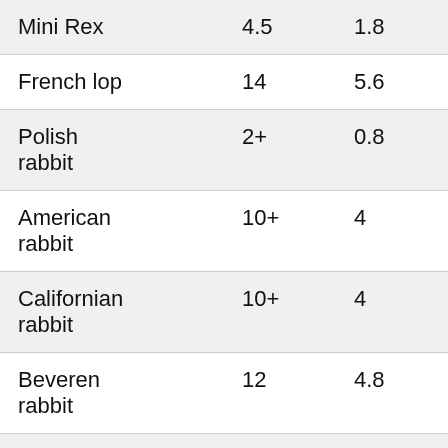| Mini Rex | 4.5 | 1.8 |
| French lop | 14 | 5.6 |
| Polish rabbit | 2+ | 0.8 |
| American rabbit | 10+ | 4 |
| Californian rabbit | 10+ | 4 |
| Beveren rabbit | 12 | 4.8 |
| English | 12 | 4.8 |